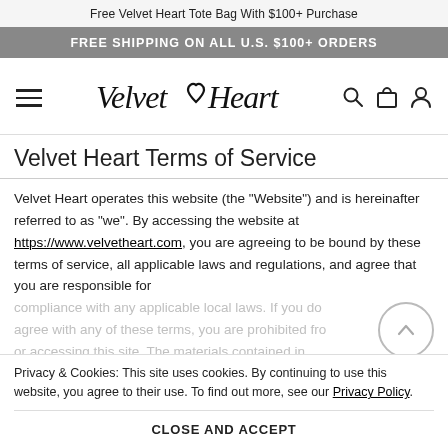Free Velvet Heart Tote Bag With $100+ Purchase
FREE SHIPPING ON ALL U.S. $100+ ORDERS
[Figure (logo): Velvet Heart script logo with hamburger menu, search, bag, and account icons]
Velvet Heart Terms of Service
Velvet Heart operates this website (the "Website") and is hereinafter referred to as "we". By accessing the website at https://www.velvetheart.com, you are agreeing to be bound by these terms of service, all applicable laws and regulations, and agree that you are responsible for compliance with any applicable local laws. If you do not agree with any of these terms, you are prohibited from or accessing this site. The materials contained in this website are protected by applicable copyright and trademark law.
Privacy & Cookies: This site uses cookies. By continuing to use this website, you agree to their use. To find out more, see our Privacy Policy.
CLOSE AND ACCEPT